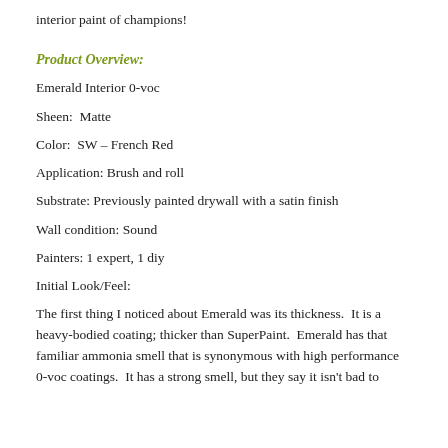interior paint of champions!
Product Overview:
Emerald Interior 0-voc
Sheen:  Matte
Color:  SW – French Red
Application: Brush and roll
Substrate: Previously painted drywall with a satin finish
Wall condition: Sound
Painters: 1 expert, 1 diy
Initial Look/Feel:
The first thing I noticed about Emerald was its thickness.  It is a heavy-bodied coating; thicker than SuperPaint.  Emerald has that familiar ammonia smell that is synonymous with high performance 0-voc coatings.  It has a strong smell, but they say it isn't bad to